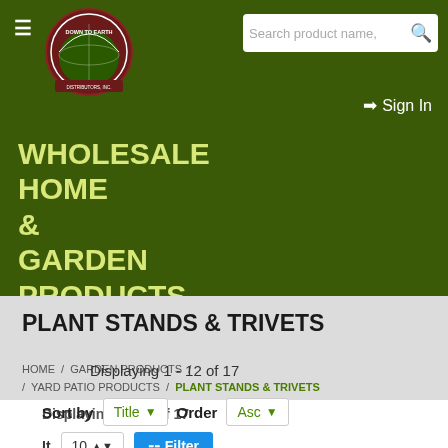[Figure (logo): Down To Earth Distributors, Inc. circular logo with globe and arch design]
Search product name...
WHOLESALE HOME & GARDEN PRODUCTS
Sign In
PLANT STANDS & TRIVETS
HOME / GARDEN PRODUCTS / YARD PATIO PRODUCTS / PLANT STANDS & TRIVETS
Displaying 1 - 12 of 17
Sort by Title Order Asc
Items per page 10 Filter